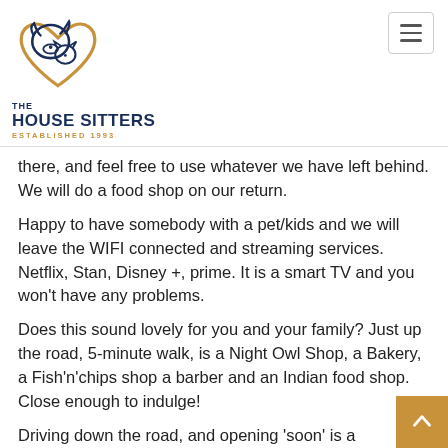THE HOUSE SITTERS ESTABLISHED 1993
there, and feel free to use whatever we have left behind. We will do a food shop on our return.
Happy to have somebody with a pet/kids and we will leave the WIFI connected and streaming services. Netflix, Stan, Disney +, prime. It is a smart TV and you won't have any problems.
Does this sound lovely for you and your family? Just up the road, 5-minute walk, is a Night Owl Shop, a Bakery, a Fish'n'chips shop a barber and an Indian food shop. Close enough to indulge!
Driving down the road, and opening 'soon' is a Woolworths complex, and just up from there is a McDonalds, Domino's, Crog Shop, Petrol, gym and Vet.